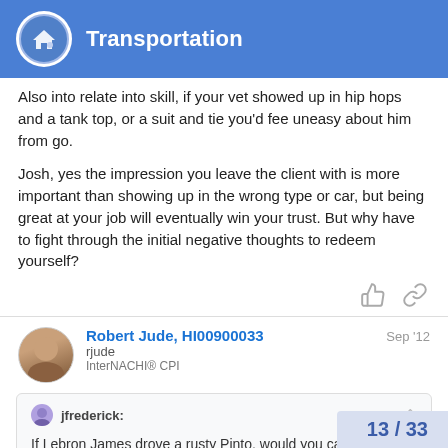Transportation
Also into relate into skill, if your vet showed up in hip hops and a tank top, or a suit and tie you'd fee uneasy about him from go.
Josh, yes the impression you leave the client with is more important than showing up in the wrong type or car, but being great at your job will eventually win your trust. But why have to fight through the initial negative thoughts to redeem yourself?
Robert Jude, HI00900033
rjude
InterNACHI® CPI
Sep '12
jfrederick:
If Lebron James drove a rusty Pinto, would you care?
I would still think he was trash. Money doe
13 / 33